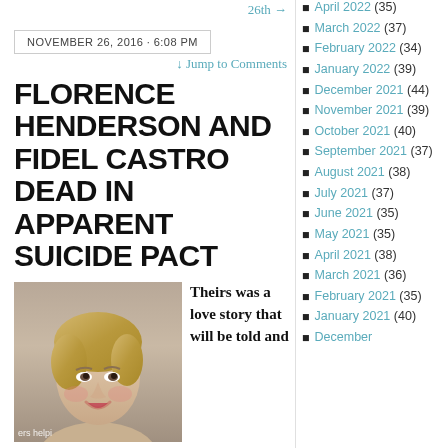26th →
NOVEMBER 26, 2016 · 6:08 PM
↓ Jump to Comments
FLORENCE HENDERSON AND FIDEL CASTRO DEAD IN APPARENT SUICIDE PACT
[Figure (photo): Headshot photo of Florence Henderson, a blonde woman smiling, with watermark text 'ers helpi']
Theirs was a love story that will be told and
April 2022 (35)
March 2022 (37)
February 2022 (34)
January 2022 (39)
December 2021 (44)
November 2021 (39)
October 2021 (40)
September 2021 (37)
August 2021 (38)
July 2021 (37)
June 2021 (35)
May 2021 (35)
April 2021 (38)
March 2021 (36)
February 2021 (35)
January 2021 (40)
December